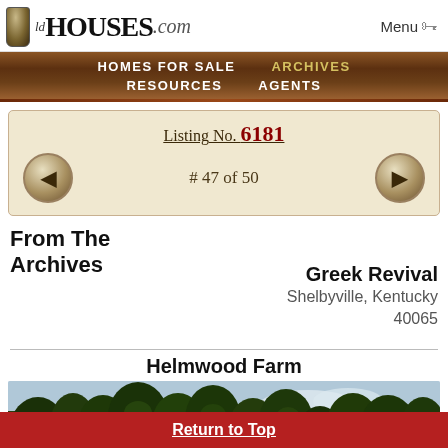OldHouses.com — Menu
HOMES FOR SALE   ARCHIVES   RESOURCES   AGENTS
Listing No. 6181
# 47 of 50
From The Archives
Greek Revival
Shelbyville, Kentucky
40065
Helmwood Farm
[Figure (photo): Outdoor photo of trees and sky, landscape view of Helmwood Farm property]
Return to Top